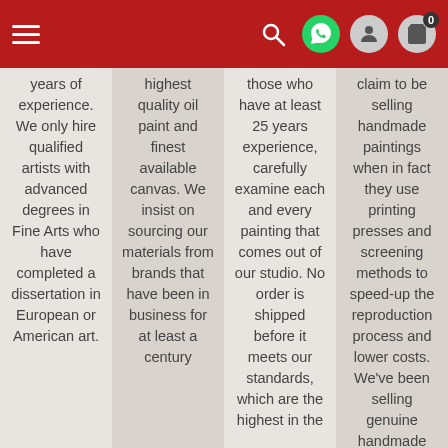Navigation bar with hamburger menu, search, WhatsApp, user, and cart icons
years of experience. We only hire qualified artists with advanced degrees in Fine Arts who have completed a dissertation in European or American art.
highest quality oil paint and finest available canvas. We insist on sourcing our materials from brands that have been in business for at least a century
those who have at least 25 years experience, carefully examine each and every painting that comes out of our studio. No order is shipped before it meets our standards, which are the highest in the
claim to be selling handmade paintings when in fact they use printing presses and screening methods to speed-up the reproduction process and lower costs. We've been selling genuine handmade online since 2003!